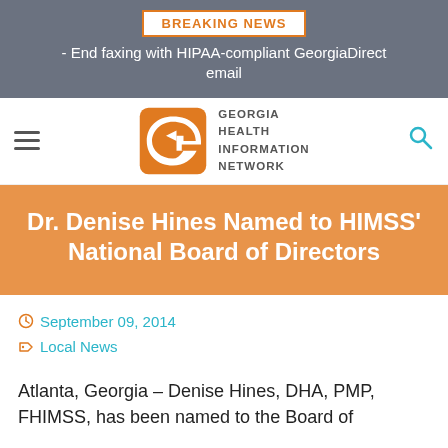BREAKING NEWS - End faxing with HIPAA-compliant GeorgiaDirect email
[Figure (logo): Georgia Health Information Network (GHIN) logo with orange G arrow icon and navigation hamburger menu and search icon]
Dr. Denise Hines Named to HIMSS' National Board of Directors
September 09, 2014
Local News
Atlanta, Georgia – Denise Hines, DHA, PMP, FHIMSS, has been named to the Board of